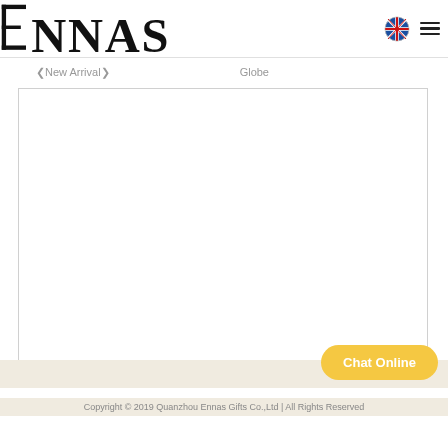Ennas logo header with globe/language icon and hamburger menu
❮New Arrival❯
Globe
[Figure (screenshot): Main content area — blank white bordered rectangle, product listing area]
Chat Online
Copyright © 2019 Quanzhou Ennas Gifts Co.,Ltd | All Rights Reserved